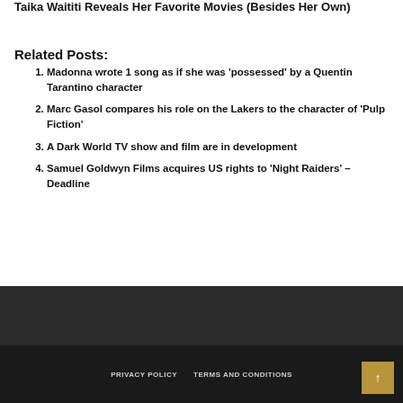Taika Waititi Reveals Her Favorite Movies (Besides Her Own)
Related Posts:
Madonna wrote 1 song as if she was 'possessed' by a Quentin Tarantino character
Marc Gasol compares his role on the Lakers to the character of 'Pulp Fiction'
A Dark World TV show and film are in development
Samuel Goldwyn Films acquires US rights to 'Night Raiders' – Deadline
PRIVACY POLICY   TERMS AND CONDITIONS